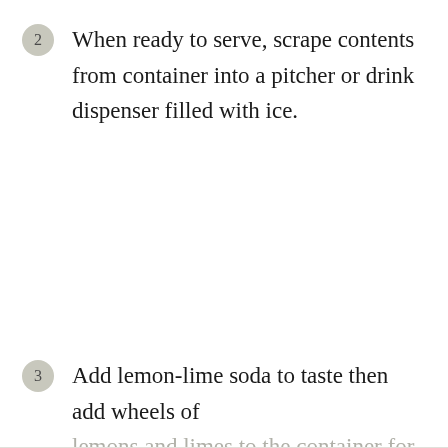2 When ready to serve, scrape contents from container into a pitcher or drink dispenser filled with ice.
3 Add lemon-lime soda to taste then add wheels of lemons and limes to the container for garnish, if desired.